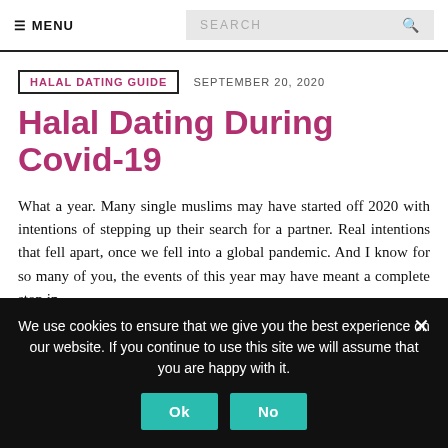☰ MENU   SEARCH
HALAL DATING GUIDE   SEPTEMBER 20, 2020
Halal Dating During Covid-19
What a year. Many single muslims may have started off 2020 with intentions of stepping up their search for a partner. Real intentions that fell apart, once we fell into a global pandemic. And I know for so many of you, the events of this year may have meant a complete stop in
We use cookies to ensure that we give you the best experience on our website. If you continue to use this site we will assume that you are happy with it.